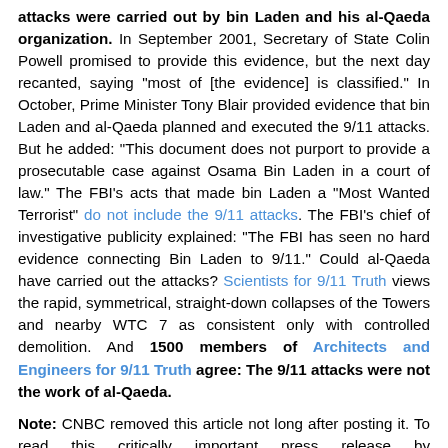attacks were carried out by bin Laden and his al-Qaeda organization. In September 2001, Secretary of State Colin Powell promised to provide this evidence, but the next day recanted, saying "most of [the evidence] is classified." In October, Prime Minister Tony Blair provided evidence that bin Laden and al-Qaeda planned and executed the 9/11 attacks. But he added: "This document does not purport to provide a prosecutable case against Osama Bin Laden in a court of law." The FBI's acts that made bin Laden a "Most Wanted Terrorist" do not include the 9/11 attacks. The FBI's chief of investigative publicity explained: "The FBI has seen no hard evidence connecting Bin Laden to 9/11." Could al-Qaeda have carried out the attacks? Scientists for 9/11 Truth views the rapid, symmetrical, straight-down collapses of the Towers and nearby WTC 7 as consistent only with controlled demolition. And 1500 members of Architects and Engineers for 9/11 Truth agree: The 9/11 attacks were not the work of al-Qaeda.
Note: CNBC removed this article not long after posting it. To read this critically important press release by WantToKnow.info team member and Nobel Peace Prize nominee David Ray Griffin in its entirety, click here. Dr. Griffin's 2009 book, Osama